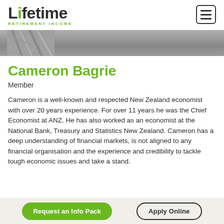Lifetime Retirement Income
[Figure (photo): Partial photo of a person, cropped profile image strip]
Cameron Bagrie
Member
Cameron is a well-known and respected New Zealand economist with over 20 years experience. For over 11 years he was the Chief Economist at ANZ. He has also worked as an economist at the National Bank, Treasury and Statistics New Zealand. Cameron has a deep understanding of financial markets, is not aligned to any financial organisation and the experience and credibility to tackle tough economic issues and take a stand.
Request an Info Pack | Apply Online